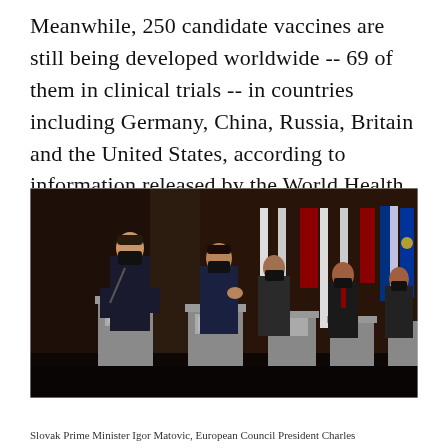Meanwhile, 250 candidate vaccines are still being developed worldwide -- 69 of them in clinical trials -- in countries including Germany, China, Russia, Britain and the United States, according to information released by the World Health Organization on Feb. 16.
[Figure (photo): Photo of Slovak Prime Minister Igor Matovic, European Council President Charles Michel, and other officials standing at podiums with national flags in the background, all wearing face masks.]
Slovak Prime Minister Igor Matovic, European Council President Charles